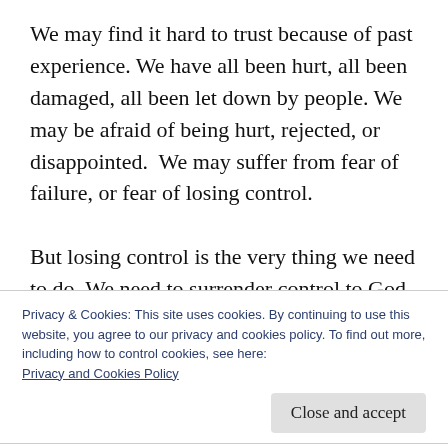We may find it hard to trust because of past experience. We have all been hurt, all been damaged, all been let down by people. We may be afraid of being hurt, rejected, or disappointed.  We may suffer from fear of failure, or fear of losing control.

But losing control is the very thing we need to do. We need to surrender control to God, and trust Him to have our best interests at heart
Privacy & Cookies: This site uses cookies. By continuing to use this website, you agree to our privacy and cookies policy. To find out more, including how to control cookies, see here: Privacy and Cookies Policy
lives.